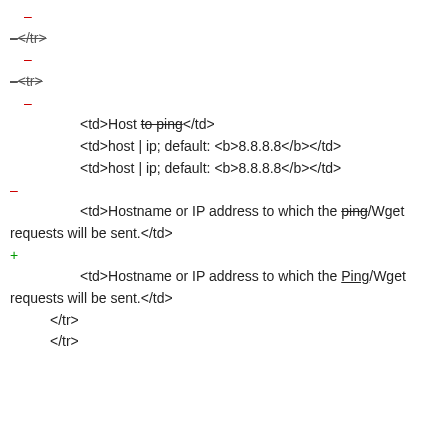–
–</tr>
–
–<tr>
–
<td>Host to ping</td>
<td>host | ip; default: <b>8.8.8.8</b></td>
<td>host | ip; default: <b>8.8.8.8</b></td>
–
<td>Hostname or IP address to which the ping/Wget requests will be sent.</td>
+
<td>Hostname or IP address to which the Ping/Wget requests will be sent.</td>
</tr>
</tr>